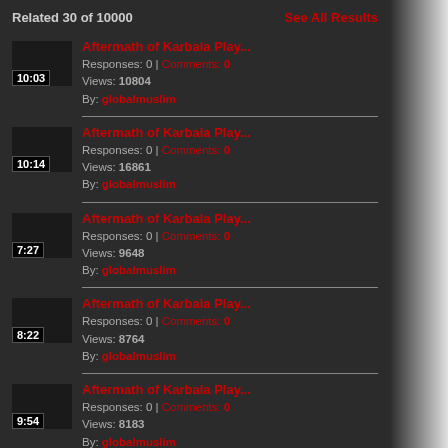Related 30 of 10000    See All Results
Aftermath of Karbala Play... | Responses: 0 | Comments: 0 | Views: 10804 | By: globalmuslim | 10:03
Aftermath of Karbala Play... | Responses: 0 | Comments: 0 | Views: 16861 | By: globalmuslim | 10:14
Aftermath of Karbala Play... | Responses: 0 | Comments: 0 | Views: 9648 | By: globalmuslim | 7:27
Aftermath of Karbala Play... | Responses: 0 | Comments: 0 | Views: 8764 | By: globalmuslim | 8:22
Aftermath of Karbala Play... | Responses: 0 | Comments: 0 | Views: 8183 | By: globalmuslim | 9:54
Aftermath of Karbala Play... | Responses: 0 | Comments: 0 | Views: 8838 | By: globalmuslim | 9:47
(1) Die Reise der TrÃ¤um...